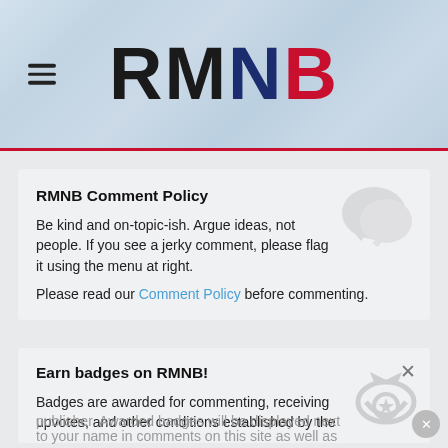RMNB
RMNB Comment Policy
Be kind and on-topic-ish. Argue ideas, not people. If you see a jerky comment, please flag it using the menu at right.
Please read our Comment Policy before commenting.
Earn badges on RMNB!
Badges are awarded for commenting, receiving upvotes, and other conditions established by the publisher. Awarded badges will be displayed next to your name in comments on this site as well as